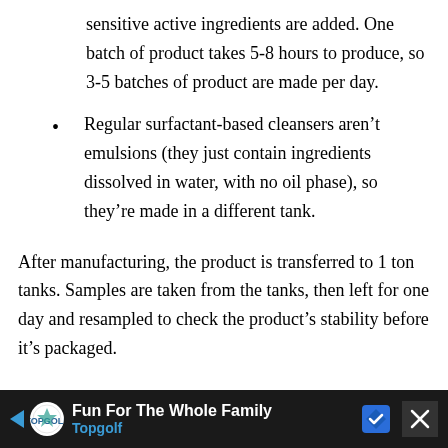sensitive active ingredients are added. One batch of product takes 5-8 hours to produce, so 3-5 batches of product are made per day.
Regular surfactant-based cleansers aren't emulsions (they just contain ingredients dissolved in water, with no oil phase), so they're made in a different tank.
After manufacturing, the product is transferred to 1 ton tanks. Samples are taken from the tanks, then left for one day and resampled to check the product's stability before it's packaged.
[Figure (other): Advertisement banner for Topgolf: 'Fun For The Whole Family' with Topgolf logo, blue navigation arrow icon, and close button on dark background.]